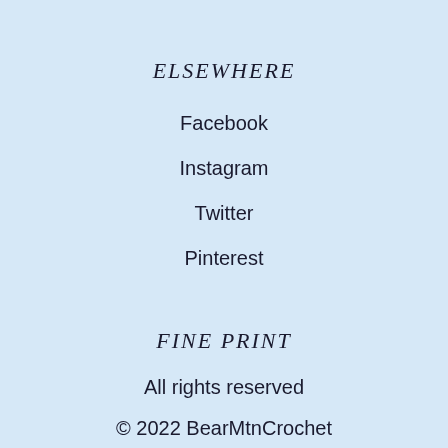ELSEWHERE
Facebook
Instagram
Twitter
Pinterest
FINE PRINT
All rights reserved
© 2022 BearMtnCrochet
Powered by Etsy